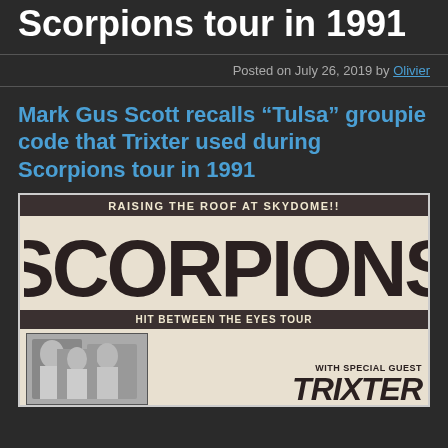Scorpions tour in 1991
Posted on July 26, 2019 by Olivier
Mark Gus Scott recalls “Tulsa” groupie code that Trixter used during Scorpions tour in 1991
[Figure (photo): Concert flyer for Scorpions 'Hit Between the Eyes Tour' at Skydome, with special guest Trixter. Black and white promotional flyer showing band photos and stylized Scorpions logo text.]